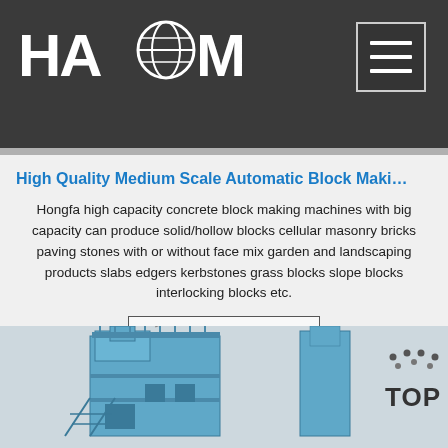[Figure (screenshot): Haomei company logo in white on dark background header, with hamburger menu icon in top right corner]
High Quality Medium Scale Automatic Block Maki…
Hongfa high capacity concrete block making machines with big capacity can produce solid/hollow blocks cellular masonry bricks paving stones with or without face mix garden and landscaping products slabs edgers kerbstones grass blocks slope blocks interlocking blocks etc.
Get Price
[Figure (photo): Large industrial blue block making machine / concrete mixing plant with metal framework and stairs, with a TOP scroll button in bottom right corner]